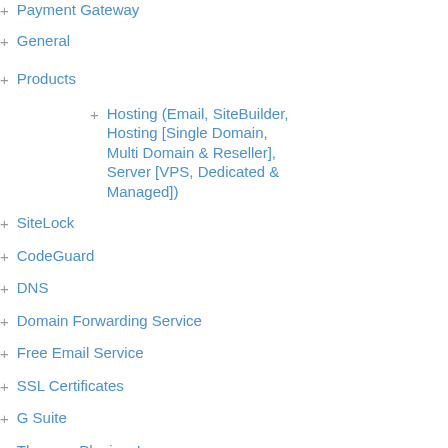Payment Gateway
General
Products
Hosting (Email, SiteBuilder, Hosting [Single Domain, Multi Domain & Reseller], Server [VPS, Dedicated & Managed])
SiteLock
CodeGuard
DNS
Domain Forwarding Service
Free Email Service
SSL Certificates
G Suite
Themes, Plugins, Logos
Managing DNS, Email, Hosting, Website Builder, SiteLock and CodeGuard through your HTTP API